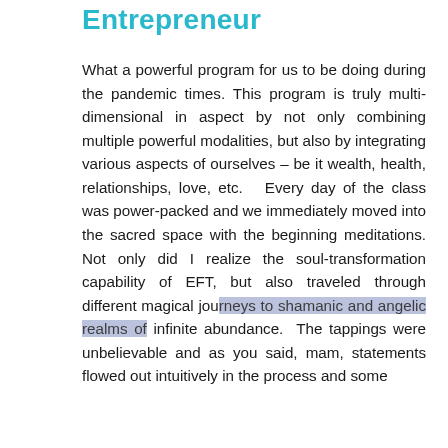Entrepreneur
What a powerful program for us to be doing during the pandemic times. This program is truly multi-dimensional in aspect by not only combining multiple powerful modalities, but also by integrating various aspects of ourselves – be it wealth, health, relationships, love, etc.   Every day of the class was power-packed and we immediately moved into the sacred space with the beginning meditations. Not only did I realize the soul-transformation capability of EFT, but also traveled through different magical journeys to shamanic and angelic realms of infinite abundance.  The tappings were unbelievable and as you said, mam, statements flowed out intuitively in the process and some